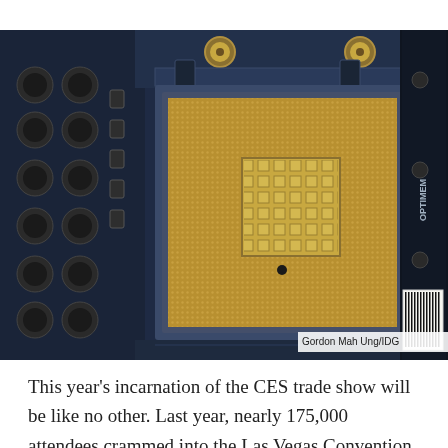[Figure (photo): Close-up photograph of a computer motherboard CPU socket (LGA socket) showing the dense pin array, mounting bracket hardware, capacitors on the left side, memory slot on the right labeled 'OPTIMEM III', and a barcode sticker. Photo credit: Gordon Mah Ung/IDG]
Gordon Mah Ung/IDG
This year's incarnation of the CES trade show will be like no other. Last year, nearly 175,000 attendees crammed into the Las Vegas Convention Center and hotels across